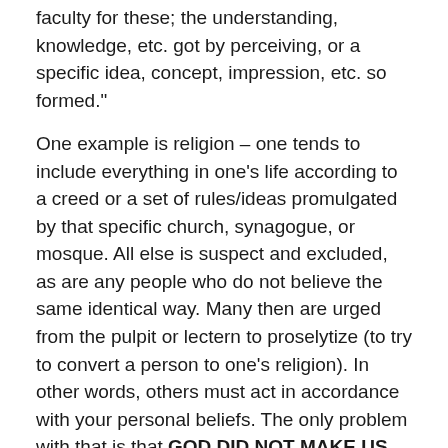faculty for these; the understanding, knowledge, etc. got by perceiving, or a specific idea, concept, impression, etc. so formed."
One example is religion – one tends to include everything in one's life according to a creed or a set of rules/ideas promulgated by that specific church, synagogue, or mosque. All else is suspect and excluded, as are any people who do not believe the same identical way. Many then are urged from the pulpit or lectern to proselytize (to try to convert a person to one's religion). In other words, others must act in accordance with your personal beliefs. The only problem with that is that GOD DID NOT MAKE US LIKE PRINGLES!
Each one of us is UNIQUE – as in one of a kind. We are a special blend of our positive and negative traits.